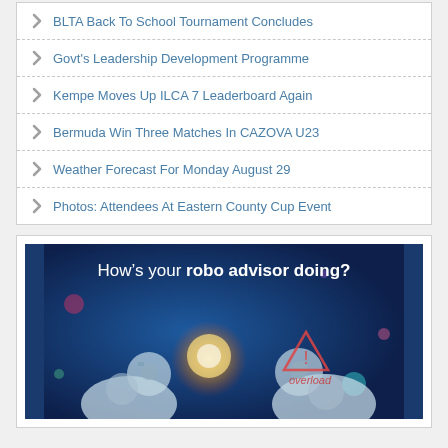BLTA Back To School Tournament Concludes
Govt's Leadership Development Programme
Kempe Moves Up ILCA 7 Leaderboard Again
Bermuda Win Three Matches In CAZOVA U23
Weather Forecast For Monday August 29
Photos: Attendees At Eastern County Cup Event
[Figure (illustration): Advertisement banner with dark blue background showing a robot illustration and text 'How's your robo advisor doing?' with 'overload' warning sign]